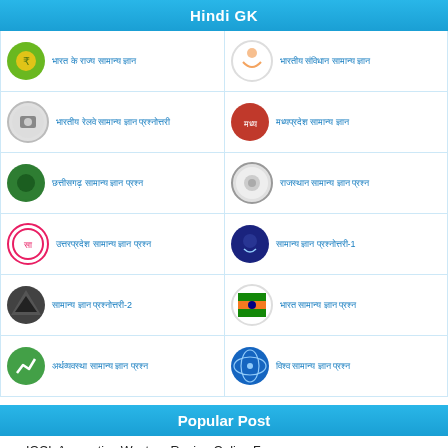Hindi GK
[Figure (infographic): Grid of Hindi GK topic icons with Hindi text links in two columns, 6 rows]
Popular Post
IOCL Apprentice Western Region Online Form